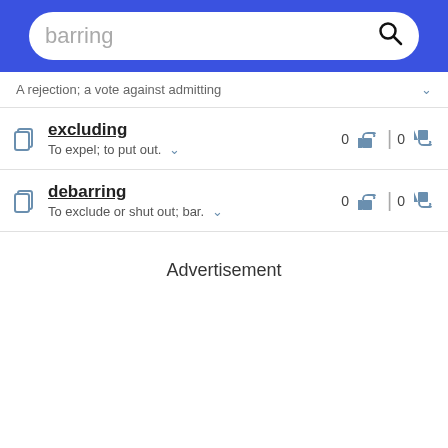barring
A rejection; a vote against admitting
excluding
To expel; to put out.
0 👍 | 0 👎
debarring
To exclude or shut out; bar.
0 👍 | 0 👎
Advertisement